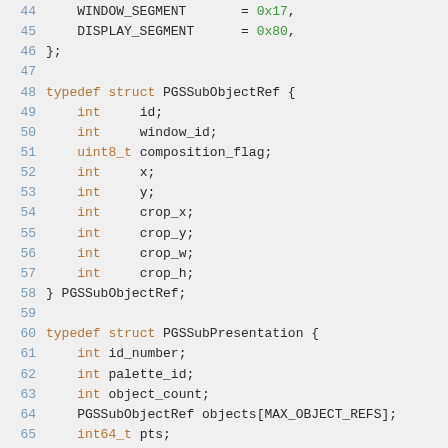[Figure (screenshot): Source code listing lines 44-68 showing C typedef struct definitions for PGSSubObjectRef and PGSSubPresentation, with syntax highlighting: line numbers in blue, keywords in orange/brown, hex values in green, identifiers in dark/black.]